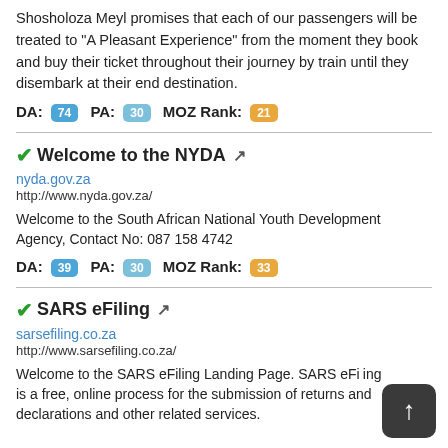Shosholoza Meyl promises that each of our passengers will be treated to "A Pleasant Experience" from the moment they book and buy their ticket throughout their journey by train until they disembark at their end destination.
DA: 74  PA: 30  MOZ Rank: 21
Welcome to the NYDA
nyda.gov.za
http://www.nyda.gov.za/
Welcome to the South African National Youth Development Agency, Contact No: 087 158 4742
DA: 39  PA: 30  MOZ Rank: 33
SARS eFiling
sarsefiling.co.za
http://www.sarsefiling.co.za/
Welcome to the SARS eFiling Landing Page. SARS eFiling is a free, online process for the submission of returns and declarations and other related services.